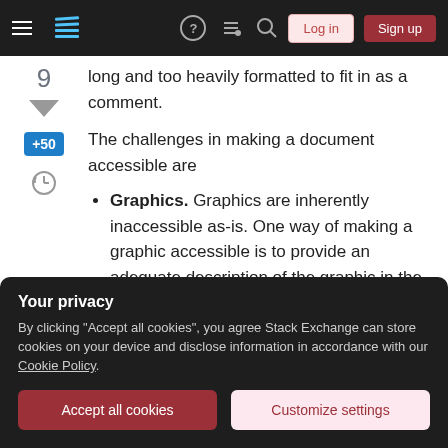Stack Exchange navigation bar with hamburger menu, logo, help, chat, search, Log in, Sign up buttons
long and too heavily formatted to fit in as a comment.
The challenges in making a document accessible are
Graphics. Graphics are inherently inaccessible as-is. One way of making a graphic accessible is to provide an adequate description of the graphic in the main body of the document. Another is to provide some alternative text
Your privacy
By clicking "Accept all cookies", you agree Stack Exchange can store cookies on your device and disclose information in accordance with our Cookie Policy.
explanation.